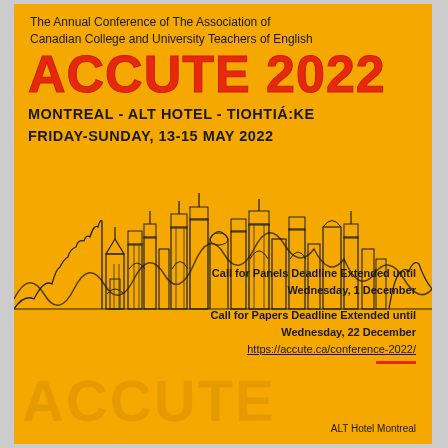The Annual Conference of The Association of Canadian College and University Teachers of English
ACCUTE 2022
MONTREAL - ALT HOTEL - TIOHTIÁ:KE
FRIDAY-SUNDAY, 13-15 MAY 2022
[Figure (illustration): Line art illustration of a city skyline (Montreal) rendered in black outlines on yellow/orange background, with abstract wavy sound-wave like contours through the buildings]
Call for Panels Deadline Extended until Wednesday, 1 December
Call for Papers Deadline Extended until Wednesday, 22 December
https://accute.ca/conference-2022/
[Figure (illustration): Watermark text ACCUTE in large semi-transparent letters at bottom left]
ALT Hotel Montreal